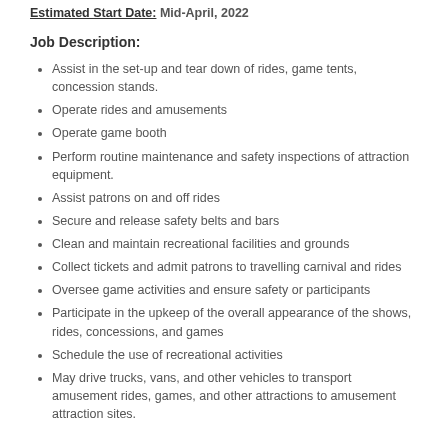Estimated Start Date: Mid-April, 2022
Job Description:
Assist in the set-up and tear down of rides, game tents, concession stands.
Operate rides and amusements
Operate game booth
Perform routine maintenance and safety inspections of attraction equipment.
Assist patrons on and off rides
Secure and release safety belts and bars
Clean and maintain recreational facilities and grounds
Collect tickets and admit patrons to travelling carnival and rides
Oversee game activities and ensure safety or participants
Participate in the upkeep of the overall appearance of the shows, rides, concessions, and games
Schedule the use of recreational activities
May drive trucks, vans, and other vehicles to transport amusement rides, games, and other attractions to amusement attraction sites.